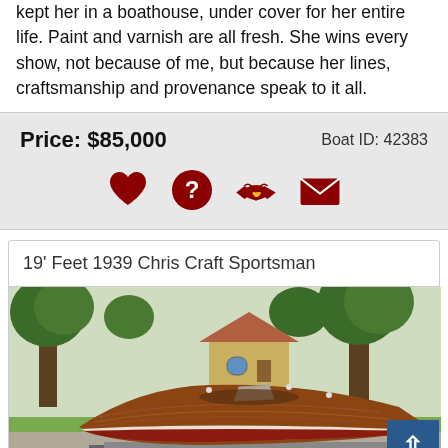kept her in a boathouse, under cover for her entire life. Paint and varnish are all fresh. She wins every show, not because of me, but because her lines, craftsmanship and provenance speak to it all.
Price: $85,000    Boat ID: 42383
[Figure (infographic): Four dark red icons in a row: heart (favorite), question mark (question), handshake (make offer), envelope (contact)]
19' Feet 1939 Chris Craft Sportsman
[Figure (photo): A classic 1939 Chris Craft Sportsman wooden speedboat with mahogany hull on a trailer, parked on a driveway with trees and a house in the background.]